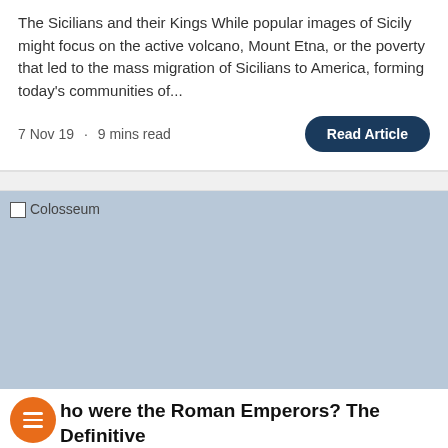The Sicilians and their Kings While popular images of Sicily might focus on the active volcano, Mount Etna, or the poverty that led to the mass migration of Sicilians to America, forming today's communities of...
7 Nov 19 · 9 mins read
[Figure (photo): Colosseum image placeholder with light blue-grey background]
Who were the Roman Emperors? The Definitive Guide for Travellers
Who had Rome? From the 6th century BC Ancient Rome...